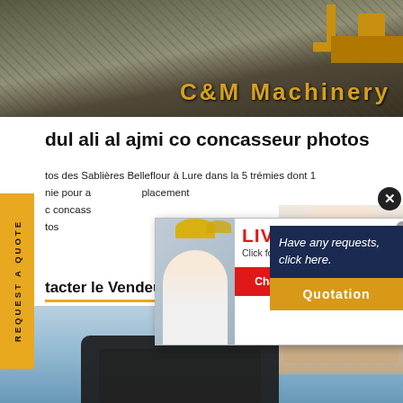[Figure (photo): Header photo of C&M Machinery construction/mining equipment with crushed stone/gravel, yellow machinery visible]
dul ali al ajmi co concasseur photos
tos des Sablières Belleflour à Lure dans la 5 trémies dont 1
nie pour a placement
c concass
tos
tacter le Vendeur
[Figure (screenshot): Live Chat popup overlay with workers in yellow helmets, LIVE CHAT heading, 'Click for a Free Consultation', Chat now and Chat later buttons]
[Figure (photo): Right side: female customer service agent with headset smiling]
[Figure (infographic): Dark blue quotation box: 'Have any requests, click here.' with Quotation button]
[Figure (photo): Bottom area: construction equipment/vehicle on blue sky background]